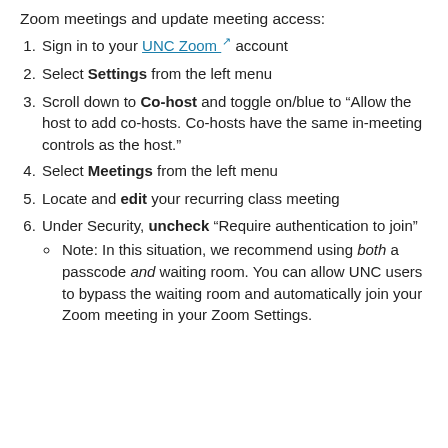Zoom meetings and update meeting access:
Sign in to your UNC Zoom account
Select Settings from the left menu
Scroll down to Co-host and toggle on/blue to “Allow the host to add co-hosts. Co-hosts have the same in-meeting controls as the host.”
Select Meetings from the left menu
Locate and edit your recurring class meeting
Under Security, uncheck “Require authentication to join”
Note: In this situation, we recommend using both a passcode and waiting room. You can allow UNC users to bypass the waiting room and automatically join your Zoom meeting in your Zoom Settings.